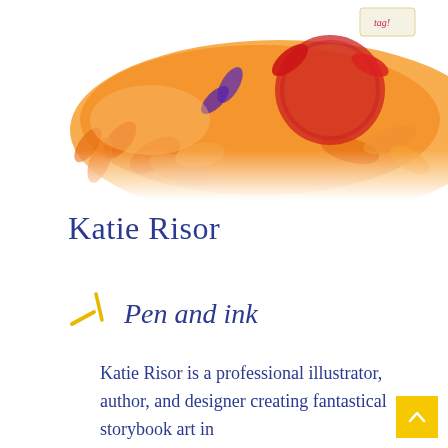[Figure (illustration): Colorful illustration showing orange and red autumn leaves with decorative floral elements, partially cropped at the top of the page]
Katie Risor
Pen and ink
Katie Risor is a professional illustrator, author, and designer creating fantastical storybook art in